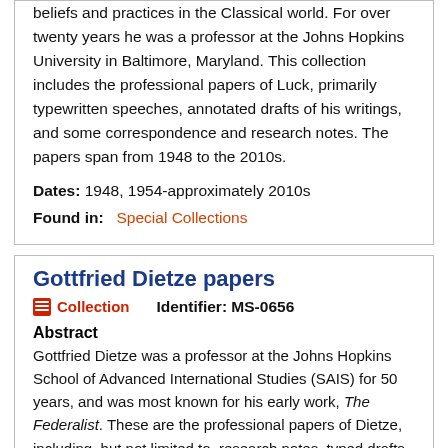beliefs and practices in the Classical world. For over twenty years he was a professor at the Johns Hopkins University in Baltimore, Maryland. This collection includes the professional papers of Luck, primarily typewritten speeches, annotated drafts of his writings, and some correspondence and research notes. The papers span from 1948 to the 2010s.
Dates: 1948, 1954-approximately 2010s
Found in: Special Collections
Gottfried Dietze papers
Collection   Identifier: MS-0656
Abstract
Gottfried Dietze was a professor at the Johns Hopkins School of Advanced International Studies (SAIS) for 50 years, and was most known for his early work, The Federalist. These are the professional papers of Dietze, including, but not limited to, research notes, typed drafts